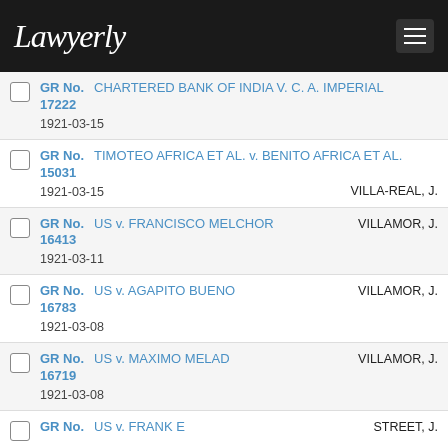Lawyerly
GR No. 17222 | CHARTERED BANK OF INDIA V. C. A. IMPERIAL | 1921-03-15
GR No. 15031 | TIMOTEO AFRICA ET AL. v. BENITO AFRICA ET AL. | 1921-03-15 | VILLA-REAL, J.
GR No. 16413 | US v. FRANCISCO MELCHOR | 1921-03-11 | VILLAMOR, J.
GR No. 16783 | US v. AGAPITO BUENO | 1921-03-08 | VILLAMOR, J.
GR No. 16719 | US v. MAXIMO MELAD | 1921-03-08 | VILLAMOR, J.
GR No. | US v. FRANK E | STREET, J.